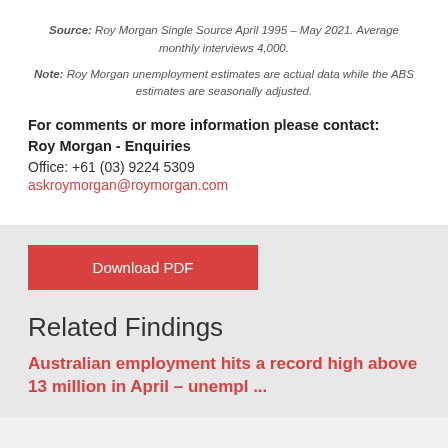Source: Roy Morgan Single Source April 1995 – May 2021. Average monthly interviews 4,000.
Note: Roy Morgan unemployment estimates are actual data while the ABS estimates are seasonally adjusted.
For comments or more information please contact:
Roy Morgan - Enquiries
Office: +61 (03) 9224 5309
askroymorgan@roymorgan.com
Download PDF
Related Findings
Australian employment hits a record high above 13 million in April – unempl ...